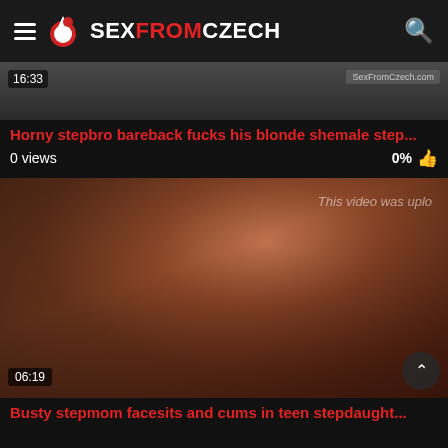SexFromCzech
[Figure (screenshot): Partial video thumbnail showing top portion of previous video]
Horny stepbro bareback fucks his blonde shemale step...
0 views   0%
[Figure (screenshot): Video thumbnail: Busty stepmom facesits and cums in teen stepdaughter, duration 06:19, watermark 'This video was uplo']
Busty stepmom facesits and cums in teen stepdaught...